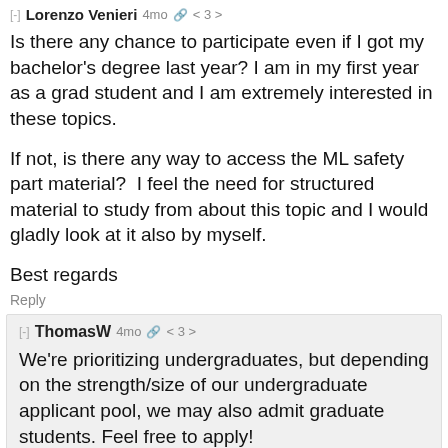[-] Lorenzo Venieri  4mo  < 3 >
Is there any chance to participate even if I got my bachelor's degree last year? I am in my first year as a grad student and I am extremely interested in these topics.

If not, is there any way to access the ML safety part material?  I feel the need for structured material to study from about this topic and I would gladly look at it also by myself.

Best regards
Reply
[-] ThomasW  4mo  < 3 >
We're prioritizing undergraduates, but depending on the strength/size of our undergraduate applicant pool, we may also admit graduate students. Feel free to apply!

The ML Safety curriculum is not yet fully ready, but when it is we will release it publicly, not just for this program. We'll post again when we do.
Reply